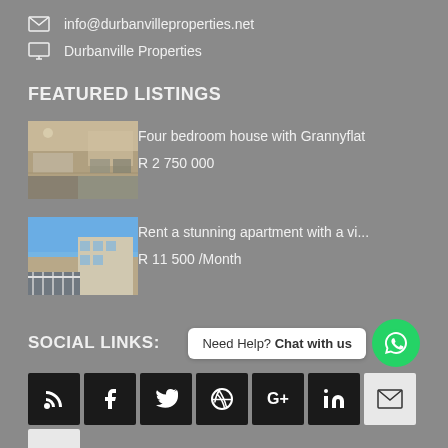info@durbanvilleproperties.net
Durbanville Properties
FEATURED LISTINGS
Four bedroom house with Grannyflat
R 2 750 000
Rent a stunning apartment with a vi...
R 11 500 /Month
SOCIAL LINKS:
Need Help? Chat with us